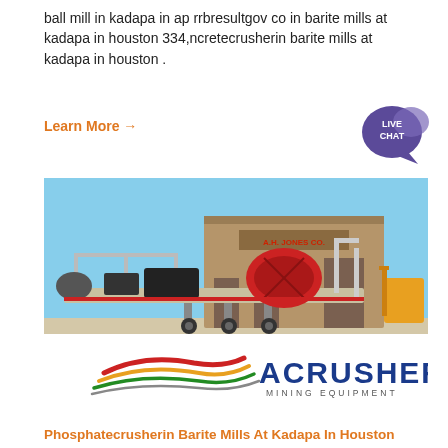ball mill in kadapa in ap rrbresultgov co in barite mills at kadapa in houston 334,ncretecrusherin barite mills at kadapa in houston .
Learn More →
[Figure (photo): Photograph of a large mobile industrial crushing/milling machine on a flatbed trailer, parked outside a building labeled 'A.H. Jones Co.' A yellow forklift is visible to the right. Below the photo is the ACRUSHER MINING EQUIPMENT logo with colorful swoosh lines.]
Phosphatecrusherin Barite Mills At Kadapa In Houston